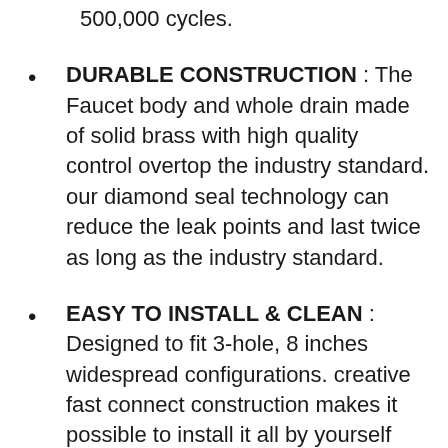500,000 cycles.
DURABLE CONSTRUCTION : The Faucet body and whole drain made of solid brass with high quality control overtop the industry standard. our diamond seal technology can reduce the leak points and last twice as long as the industry standard.
EASY TO INSTALL & CLEAN : Designed to fit 3-hole, 8 inches widespread configurations. creative fast connect construction makes it possible to install it all by yourself using hardware without a plumber! (POP-UP DRAIN ASSEMBLY & WATER SUPPLY LINES INCLUDE)